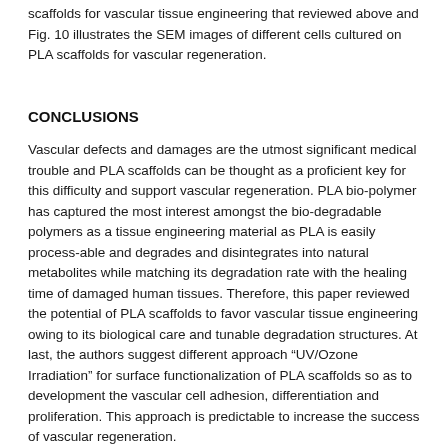scaffolds for vascular tissue engineering that reviewed above and Fig. 10 illustrates the SEM images of different cells cultured on PLA scaffolds for vascular regeneration.
CONCLUSIONS
Vascular defects and damages are the utmost significant medical trouble and PLA scaffolds can be thought as a proficient key for this difficulty and support vascular regeneration. PLA bio-polymer has captured the most interest amongst the bio-degradable polymers as a tissue engineering material as PLA is easily process-able and degrades and disintegrates into natural metabolites while matching its degradation rate with the healing time of damaged human tissues. Therefore, this paper reviewed the potential of PLA scaffolds to favor vascular tissue engineering owing to its biological care and tunable degradation structures. At last, the authors suggest different approach “UV/Ozone Irradiation” for surface functionalization of PLA scaffolds so as to development the vascular cell adhesion, differentiation and proliferation. This approach is predictable to increase the success of vascular regeneration.